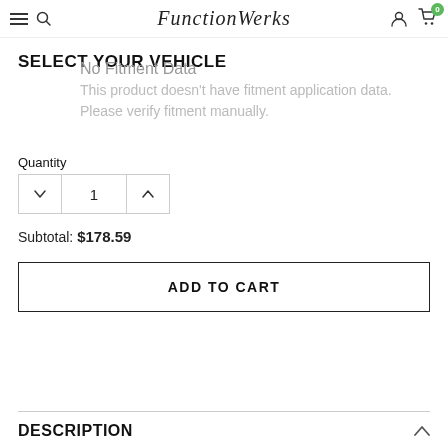FunctionWerks — navigation header with hamburger, search, account, cart (0)
SELECT YOUR VEHICLE
No Fitment Data
This product doesn't have fitment application data. Please verify fitment manually.
Quantity
1
Subtotal: $178.59
ADD TO CART
DESCRIPTION